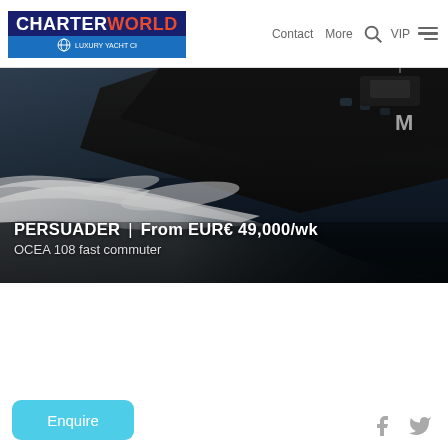CHARTERWORLD | Contact | More | VIP
[Figure (photo): Dark-hulled luxury yacht (OCEA 108 fast commuter named PERSUADER) cutting through ocean water at high speed, with white wake foam visible. The vessel hull is very dark/black, shot from a low side angle.]
PERSUADER | From EUR€ 49,000/wk
OCEA 108 fast commuter
Enquire
[Figure (illustration): Facebook and Twitter social media icons in grey]